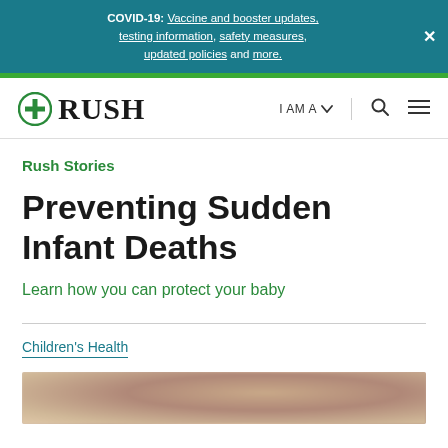COVID-19: Vaccine and booster updates, testing information, safety measures, updated policies and more.
[Figure (logo): RUSH hospital logo with circular icon and bold serif text 'RUSH']
Rush Stories
Preventing Sudden Infant Deaths
Learn how you can protect your baby
Children's Health
[Figure (photo): Partial photo of an infant, cropped at bottom of page]